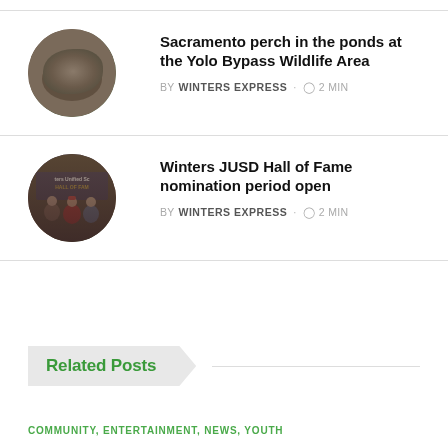[Figure (photo): Circular thumbnail of a Sacramento perch fish being held in a hand]
Sacramento perch in the ponds at the Yolo Bypass Wildlife Area
BY WINTERS EXPRESS · 2 MIN
[Figure (photo): Circular thumbnail of three people standing in front of a Winters Unified School District Hall of Fame banner]
Winters JUSD Hall of Fame nomination period open
BY WINTERS EXPRESS · 2 MIN
Related Posts
COMMUNITY, ENTERTAINMENT, NEWS, YOUTH